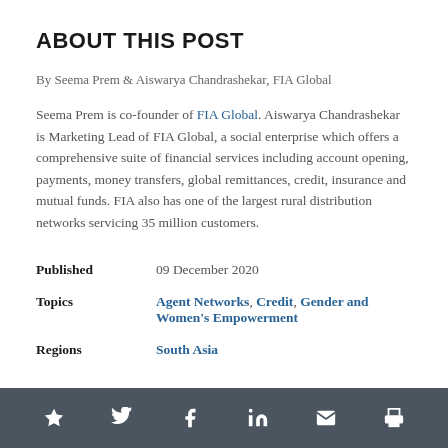ABOUT THIS POST
By Seema Prem & Aiswarya Chandrashekar, FIA Global
Seema Prem is co-founder of FIA Global. Aiswarya Chandrashekar is Marketing Lead of FIA Global, a social enterprise which offers a comprehensive suite of financial services including account opening, payments, money transfers, global remittances, credit, insurance and mutual funds. FIA also has one of the largest rural distribution networks servicing 35 million customers.
| Published | 09 December 2020 |
| Topics | Agent Networks, Credit, Gender and Women's Empowerment |
| Regions | South Asia |
★  𝕏  f  in  ✉  🖨